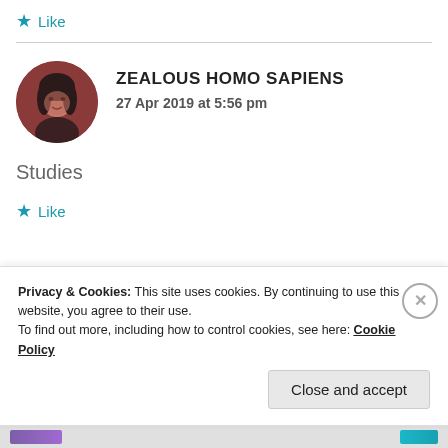★ Like
[Figure (photo): Circular avatar of a person with dark hair against a reddish-brown background]
ZEALOUS HOMO SAPIENS
27 Apr 2019 at 5:56 pm
Studies
★ Like
Privacy & Cookies: This site uses cookies. By continuing to use this website, you agree to their use.
To find out more, including how to control cookies, see here: Cookie Policy
Close and accept